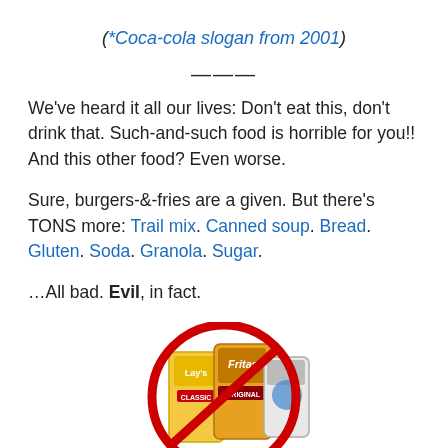(*Coca-cola slogan from 2001)
———
We've heard it all our lives: Don't eat this, don't drink that. Such-and-such food is horrible for you!! And this other food? Even worse.
Sure, burgers-&-fries are a given. But there's TONS more: Trail mix. Canned soup. Bread. Gluten. Soda. Granola. Sugar.
…All bad. Evil, in fact.
[Figure (photo): Photo of snack food packages (Lay's, Fritos, and another) inside a red circle with a diagonal line through it (prohibition/no symbol).]